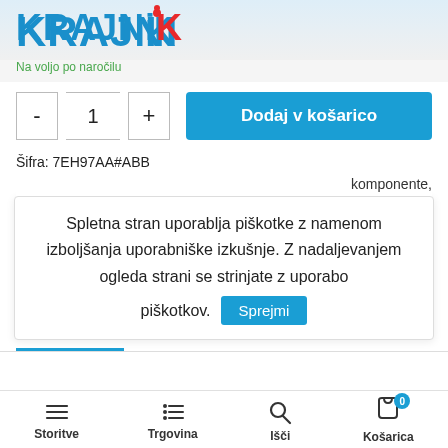[Figure (logo): KRAJNIK logo in blue with red dot over the i]
Na voljo po naročilu
- 1 + Dodaj v košarico
Šifra: 7EH97AA#ABB
komponente,
Spletna stran uporablja piškotke z namenom izboljšanja uporabniške izkušnje. Z nadaljevanjem ogleda strani se strinjate z uporabo piškotkov. Sprejmi
Storitve  Trgovina  Išči  Košarica 0